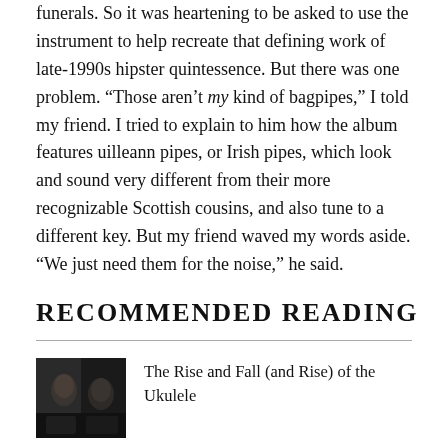funerals. So it was heartening to be asked to use the instrument to help recreate that defining work of late-1990s hipster quintessence. But there was one problem. “Those aren’t my kind of bagpipes,” I told my friend. I tried to explain to him how the album features uilleann pipes, or Irish pipes, which look and sound very different from their more recognizable Scottish cousins, and also tune to a different key. But my friend waved my words aside. “We just need them for the noise,” he said.
RECOMMENDED READING
The Rise and Fall (and Rise) of the Ukulele